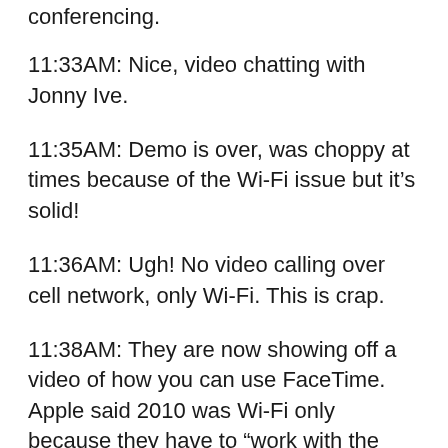conferencing.
11:33AM: Nice, video chatting with Jonny Ive.
11:35AM: Demo is over, was choppy at times because of the Wi-Fi issue but it's solid!
11:36AM: Ugh! No video calling over cell network, only Wi-Fi. This is crap.
11:38AM: They are now showing off a video of how you can use FaceTime. Apple said 2010 was Wi-Fi only because they have to “work with the carriers.” Video is intense. Huge applause.